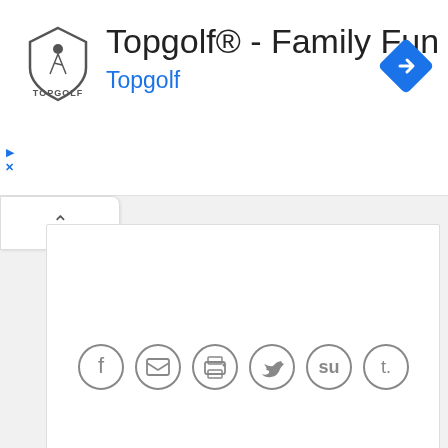[Figure (screenshot): Topgolf advertisement banner with logo, title 'Topgolf® - Family Fun', subtitle 'Topgolf' in blue, and a blue navigation arrow icon on the right. Play and close controls on the left edge.]
[Figure (screenshot): Social sharing icons row showing Facebook, email, print, Twitter, StumbleUpon, and Tumblr circular icon buttons in gray outline style.]
You May Like
[Figure (illustration): Promotional card with orange background and white inner card, featuring a pumpkin illustration at the bottom left corner.]